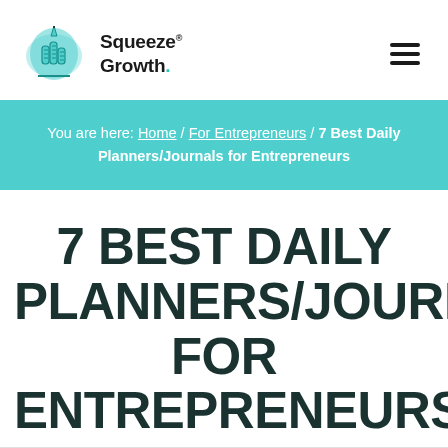Squeeze Growth.
You are here: Home / For Entrepreneurs / 7 Best Daily Planners/Journals for Entrepreneurs
7 BEST DAILY PLANNERS/JOURNALS FOR ENTREPRENEURS